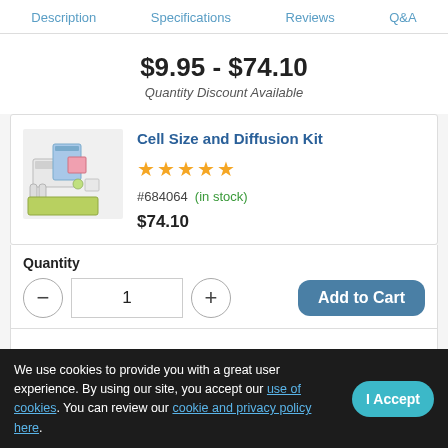Description  Specifications  Reviews  Q&A
$9.95 - $74.10
Quantity Discount Available
Cell Size and Diffusion Kit
★★★★★
#684064  (in stock)
$74.10
Quantity
1
Add to Cart
We use cookies to provide you with a great user experience. By using our site, you accept our use of cookies. You can review our cookie and privacy policy here.
I Accept
Cell Size and Diffusion Kit Refill